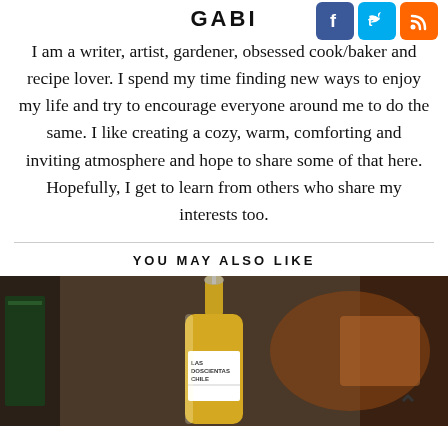GABI
I am a writer, artist, gardener, obsessed cook/baker and recipe lover. I spend my time finding new ways to enjoy my life and try to encourage everyone around me to do the same. I like creating a cozy, warm, comforting and inviting atmosphere and hope to share some of that here. Hopefully, I get to learn from others who share my interests too.
YOU MAY ALSO LIKE
[Figure (photo): A bottle of Las Doscientas Chile wine/oil with a yellow-gold liquid, photographed on a dark surface with blurred background]